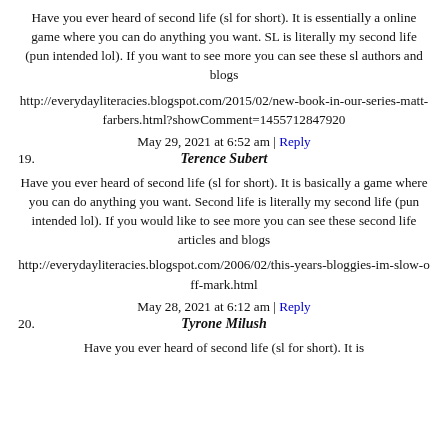Have you ever heard of second life (sl for short). It is essentially a online game where you can do anything you want. SL is literally my second life (pun intended lol). If you want to see more you can see these sl authors and blogs
http://everydayliteracies.blogspot.com/2015/02/new-book-in-our-series-matt-farbers.html?showComment=1455712847920
May 29, 2021 at 6:52 am | Reply
19. Terence Subert
Have you ever heard of second life (sl for short). It is basically a game where you can do anything you want. Second life is literally my second life (pun intended lol). If you would like to see more you can see these second life articles and blogs
http://everydayliteracies.blogspot.com/2006/02/this-years-bloggies-im-slow-off-mark.html
May 28, 2021 at 6:12 am | Reply
20. Tyrone Milush
Have you ever heard of second life (sl for short). It is